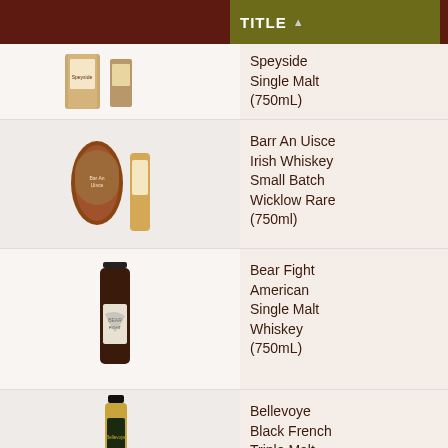|  | TITLE ▲ | PRICE |  |
| --- | --- | --- | --- |
| [bottle image] | Speyside Single Malt (750mL) | $72.00 [partial] | ADD TO CART |
| [bottle image] | Barr An Uisce Irish Whiskey Small Batch Wicklow Rare (750ml) | $52.95 | In stock | ADD TO CART |
| [bottle image] | Bear Fight American Single Malt Whiskey (750mL) | $44.95 | In stock | ADD TO CART |
| [bottle image] | Bellevoye Black French Triple Malt Whis... | $65.00 | In stock | ADD TO CART |